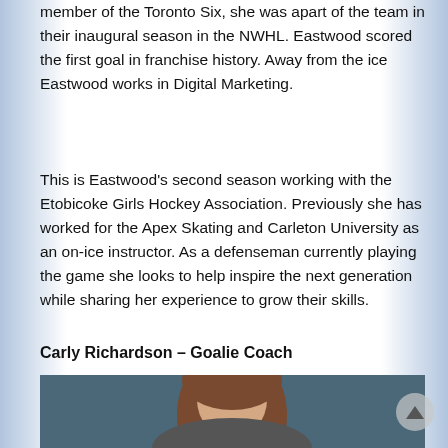member of the Toronto Six, she was apart of the team in their inaugural season in the NWHL. Eastwood scored the first goal in franchise history. Away from the ice Eastwood works in Digital Marketing.
This is Eastwood's second season working with the Etobicoke Girls Hockey Association. Previously she has worked for the Apex Skating and Carleton University as an on-ice instructor. As a defenseman currently playing the game she looks to help inspire the next generation while sharing her experience to grow their skills.
Carly Richardson – Goalie Coach
[Figure (photo): Portrait photo of Carly Richardson, showing a woman with brown hair against a dark teal background, cropped at the bottom of the page.]